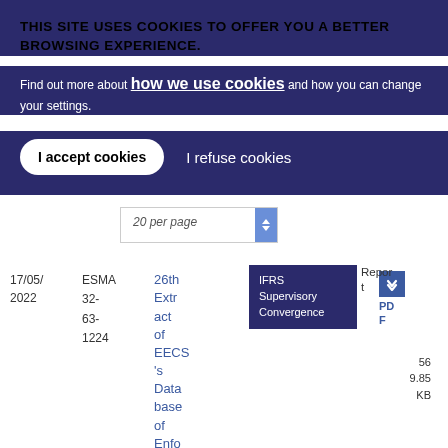THIS SITE USES COOKIES TO OFFER YOU A BETTER BROWSING EXPERIENCE.
Find out more about how we use cookies and how you can change your settings.
I accept cookies | I refuse cookies
20 per page
| Date | Reference | Title | Tags | Type | Download |
| --- | --- | --- | --- | --- | --- |
| 17/05/2022 | ESMA 32-63-1224 | 26th Extract of EECS's Database of Enfo | IFRS Supervisory Convergence | Report | PDF 569.85 KB |